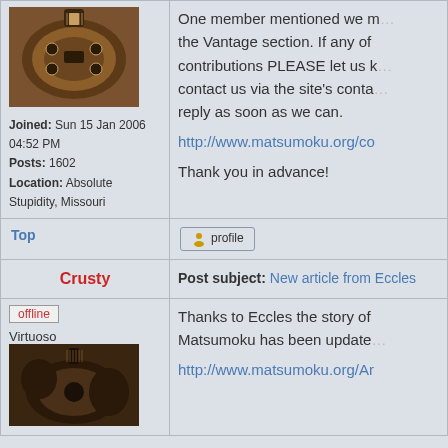[Figure (photo): Gibson Les Paul style electric guitar, brown sunburst finish, top view]
Joined: Sun 15 Jan 2006 04:52 PM
Posts: 1602
Location: Absolute Stupidity, Missouri
One member mentioned we might need a Vantage section. If any of contributions PLEASE let us know, contact us via the site's contact, reply as soon as we can.

http://www.matsumoku.org/co...

Thank you in advance!
Top
[Figure (screenshot): Profile button with user icon]
Crusty
Post subject: New article from Eccles
offline
Virtuoso
[Figure (photo): Dark brown acoustic-electric guitar, ornate body shape]
Thanks to Eccles the story of Matsumoku has been updated

http://www.matsumoku.org/Ar...